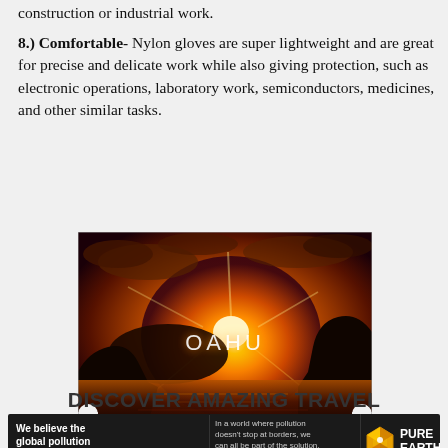construction or industrial work.
8.) Comfortable- Nylon gloves are super lightweight and are great for precise and delicate work while also giving protection, such as electronic operations, laboratory work, semiconductors, medicines, and other similar tasks.
[Figure (photo): A dramatic sunset over the ocean near rocky cliffs with the word OAHU displayed in the center, orange and red sky with sun rays]
DISCOVER AMAZING TRAVEL
[Figure (infographic): Pure Earth advertisement banner: 'We believe the global pollution crisis can be solved.' with green text for 'can be solved.' Middle section: 'In a world where pollution doesn't stop at borders, we can all be part of the solution. JOIN US.' Right section shows Pure Earth logo with diamond/triangle symbol and PURE EARTH text in white.]